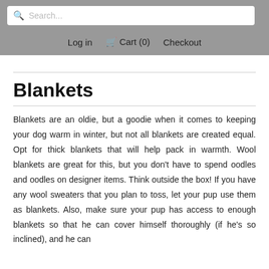Search...
Log in   Cart (0)   Checkout
Blankets
Blankets are an oldie, but a goodie when it comes to keeping your dog warm in winter, but not all blankets are created equal. Opt for thick blankets that will help pack in warmth. Wool blankets are great for this, but you don't have to spend oodles and oodles on designer items. Think outside the box! If you have any wool sweaters that you plan to toss, let your pup use them as blankets. Also, make sure your pup has access to enough blankets so that he can cover himself thoroughly (if he's so inclined), and he can